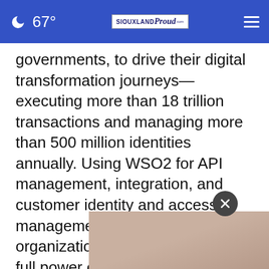67° SIOUXLAND Proud
governments, to drive their digital transformation journeys—executing more than 18 trillion transactions and managing more than 500 million identities annually. Using WSO2 for API management, integration, and customer identity and access management (CIAM), these organizations are harnessing the full power of their APIs to securely deliver their digital services and applications. Our open-source, API-first approach to software that runs on prem and
[Figure (photo): Partially visible photo of a person, overlaid on the bottom portion of the page with a close (X) button]